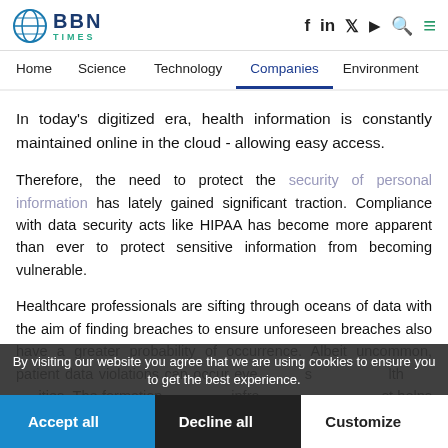BBN TIMES - Home | Science | Technology | Companies | Environment
In today's digitized era, health information is constantly maintained online in the cloud - allowing easy access.
Therefore, the need to protect the security of personal information has lately gained significant traction. Compliance with data security acts like HIPAA has become more apparent than ever to protect sensitive information from becoming vulnerable.
Healthcare professionals are sifting through oceans of data with the aim of finding breaches to ensure unforeseen breaches also have a greater probability of occurrence. Albeit uncommon, patient data violations can occur even in trustworthy healthcare facilities. The formation of a secure infrastructure at the outset helps guarantee the approachability and privacy of health
By visiting our website you agree that we are using cookies to ensure you to get the best experience.